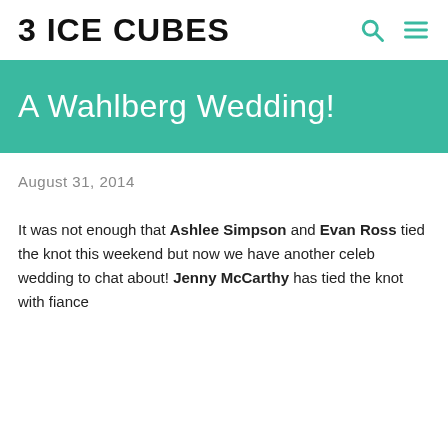3 ICE CUBES
A Wahlberg Wedding!
August 31, 2014
It was not enough that Ashlee Simpson and Evan Ross tied the knot this weekend but now we have another celeb wedding to chat about! Jenny McCarthy has tied the knot with fiance